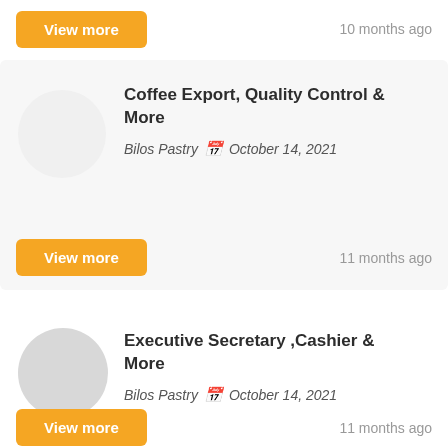10 months ago
Coffee Export, Quality Control & More — Bilos Pastry — October 14, 2021
11 months ago
Executive Secretary ,Cashier & More — Bilos Pastry — October 14, 2021
11 months ago